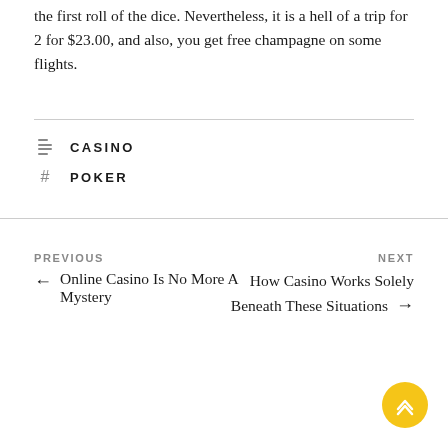the first roll of the dice. Nevertheless, it is a hell of a trip for 2 for $23.00, and also, you get free champagne on some flights.
CASINO
POKER
PREVIOUS
← Online Casino Is No More A Mystery
NEXT
How Casino Works Solely Beneath These Situations →